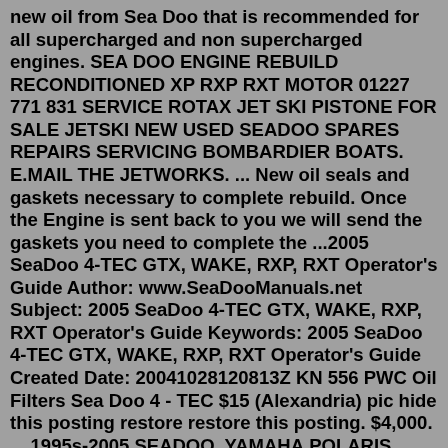new oil from Sea Doo that is recommended for all supercharged and non supercharged engines. SEA DOO ENGINE REBUILD RECONDITIONED XP RXP RXT MOTOR 01227 771 831 SERVICE ROTAX JET SKI PISTONE FOR SALE JETSKI NEW USED SEADOO SPARES REPAIRS SERVICING BOMBARDIER BOATS. E.MAIL THE JETWORKS. ... New oil seals and gaskets necessary to complete rebuild. Once the Engine is sent back to you we will send the gaskets you need to complete the ...2005 SeaDoo 4-TEC GTX, WAKE, RXP, RXT Operator's Guide Author: www.SeaDooManuals.net Subject: 2005 SeaDoo 4-TEC GTX, WAKE, RXP, RXT Operator's Guide Keywords: 2005 SeaDoo 4-TEC GTX, WAKE, RXP, RXT Operator's Guide Created Date: 20041028120813Z KN 556 PWC Oil Filters Sea Doo 4 - TEC $15 (Alexandria) pic hide this posting restore restore this posting. $4,000. ... 1995s-2005 SEADOO, YAMAHA,POLARIS, JETS SKIS RUNNING OR NONE $1,234 ... 2005 Seadoo RXT 3